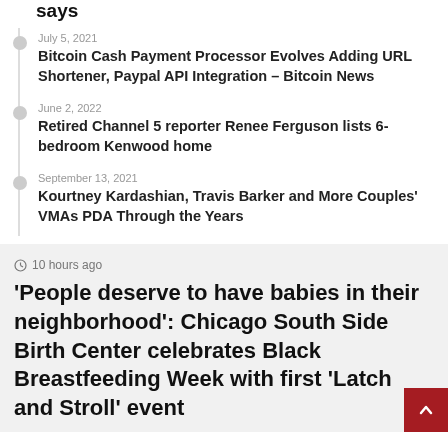says
July 5, 2021
Bitcoin Cash Payment Processor Evolves Adding URL Shortener, Paypal API Integration – Bitcoin News
June 2, 2022
Retired Channel 5 reporter Renee Ferguson lists 6-bedroom Kenwood home
September 13, 2021
Kourtney Kardashian, Travis Barker and More Couples' VMAs PDA Through the Years
10 hours ago
'People deserve to have babies in their neighborhood': Chicago South Side Birth Center celebrates Black Breastfeeding Week with first 'Latch and Stroll' event